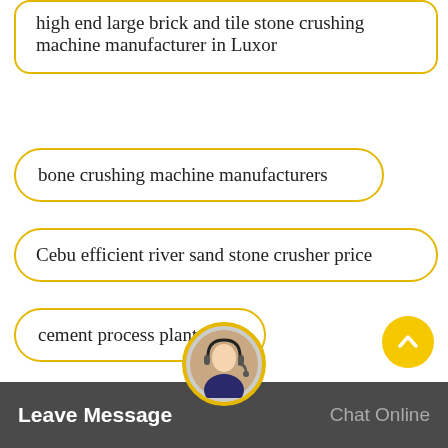high end large brick and tile stone crushing machine manufacturer in Luxor
bone crushing machine manufacturers
Cebu efficient river sand stone crusher price
cement process plant
gold e traction from sand machine india
sand washing machine ki e name
Leave Message   Chat Online